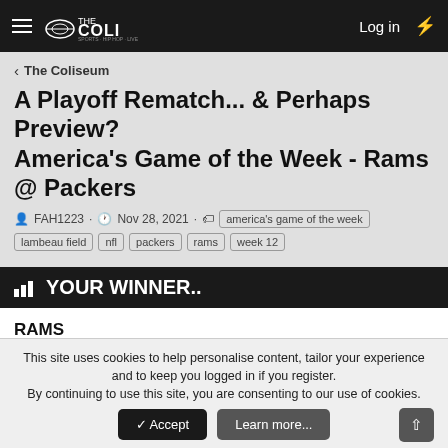THE COLI — Log in
< The Coliseum
A Playoff Rematch... & Perhaps Preview? America's Game of the Week - Rams @ Packers
FAH1223 · Nov 28, 2021 · america's game of the week  lambeau field  nfl  packers  rams  week 12
YOUR WINNER..
RAMS
Votes: 4   25.0%
PACKERS
Votes: 12   75.0%
This site uses cookies to help personalise content, tailor your experience and to keep you logged in if you register.
By continuing to use this site, you are consenting to our use of cookies.